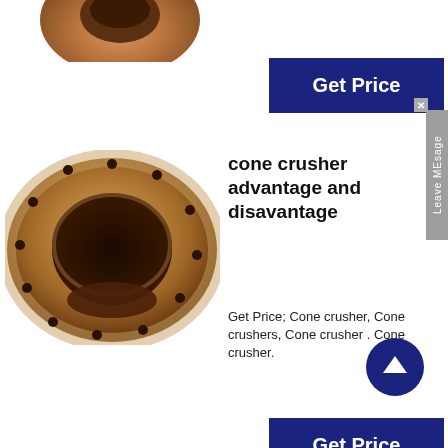[Figure (photo): Partial view of a copper/bronze cylindrical bushing component from above, cropped at top of page]
[Figure (other): Dark blue 'Get Price' button]
[Figure (other): Grey 'Leave MEsage' side tab with close X button]
[Figure (photo): Copper/bronze flanged bushing with circular bolt holes around the flange, viewed at an angle showing the hollow interior]
cone crusher advantage and disavantage
Get Price; Cone crusher, Cone crushers, Cone crusher . Cone crusher.
[Figure (other): Dark blue circular scroll-up arrow button]
[Figure (other): Dark blue 'Get Price' button]
[Figure (photo): Copper/bronze eccentric cone crusher bushing component with a protruding tab on the side]
eccentric dragon europen cone crusher